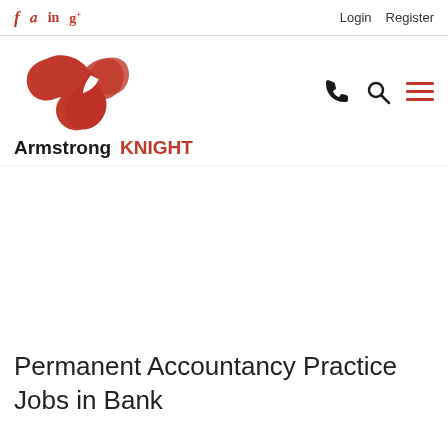f  in  g+  Login  Register
[Figure (logo): Armstrong Knight logo — red triangular swoosh icon with text 'Armstrong' in black and 'KNIGHT' in red below it]
[Figure (other): Navigation icons: phone, search magnifier, and hamburger menu in dark color]
Permanent Accountancy Practice Jobs in Bank